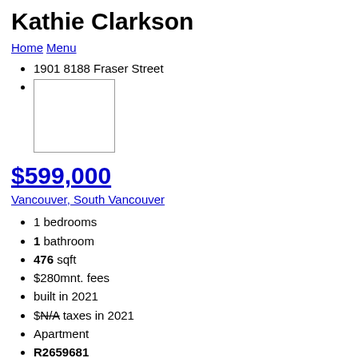Kathie Clarkson
Home  Menu
1901 8188 Fraser Street
[Figure (photo): Property image placeholder (white rectangle with border)]
$599,000
Vancouver, South Vancouver
1 bedrooms
1 bathroom
476 sqft
$280mnt. fees
built in 2021
$N/A taxes in 2021
Apartment
R2659681